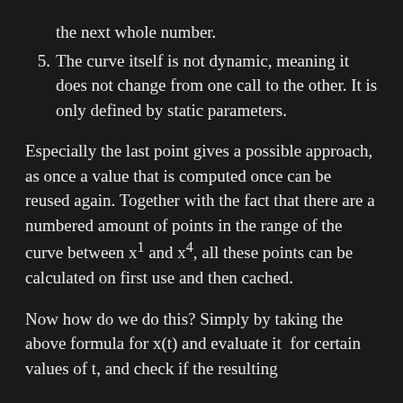the next whole number.
5. The curve itself is not dynamic, meaning it does not change from one call to the other. It is only defined by static parameters.
Especially the last point gives a possible approach, as once a value that is computed once can be reused again. Together with the fact that there are a numbered amount of points in the range of the curve between x¹ and x⁴, all these points can be calculated on first use and then cached.
Now how do we do this? Simply by taking the above formula for x(t) and evaluate it for certain values of t, and check if the resulting